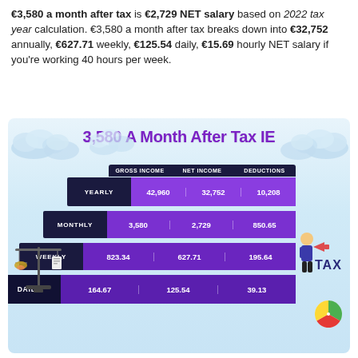€3,580 a month after tax is €2,729 NET salary based on 2022 tax year calculation. €3,580 a month after tax breaks down into €32,752 annually, €627.71 weekly, €125.54 daily, €15.69 hourly NET salary if you're working 40 hours per week.
[Figure (infographic): Staircase infographic showing gross income, net income, and deductions for yearly (42,960 / 32,752 / 10,208), monthly (3,580 / 2,729 / 850.65), weekly (823.34 / 627.71 / 195.64), and daily (164.67 / 125.54 / 39.13) breakdowns.]